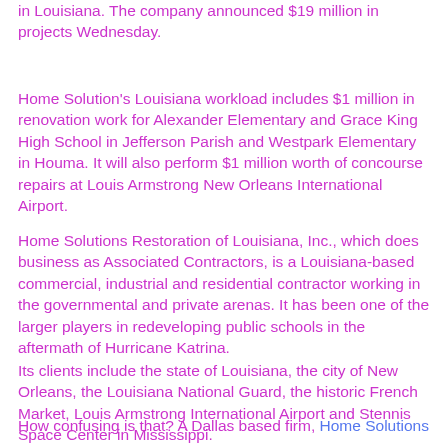in Louisiana. The company announced $19 million in projects Wednesday.
Home Solution's Louisiana workload includes $1 million in renovation work for Alexander Elementary and Grace King High School in Jefferson Parish and Westpark Elementary in Houma. It will also perform $1 million worth of concourse repairs at Louis Armstrong New Orleans International Airport.
Home Solutions Restoration of Louisiana, Inc., which does business as Associated Contractors, is a Louisiana-based commercial, industrial and residential contractor working in the governmental and private arenas. It has been one of the larger players in redeveloping public schools in the aftermath of Hurricane Katrina.
Its clients include the state of Louisiana, the city of New Orleans, the Louisiana National Guard, the historic French Market, Louis Armstrong International Airport and Stennis Space Center in Mississippi.
How confusing is that? A Dallas based firm, Home Solutions